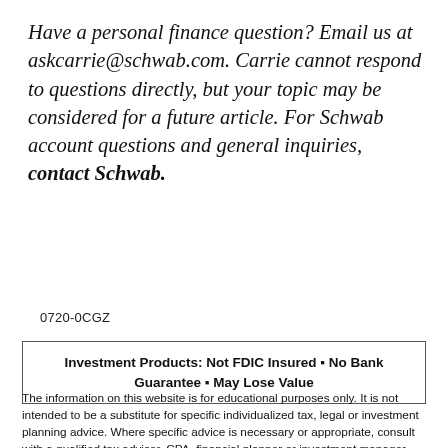Have a personal finance question? Email us at askcarrie@schwab.com. Carrie cannot respond to questions directly, but your topic may be considered for a future article. For Schwab account questions and general inquiries, contact Schwab.
0720-0CGZ
Investment Products: Not FDIC Insured • No Bank Guarantee • May Lose Value
The information on this website is for educational purposes only. It is not intended to be a substitute for specific individualized tax, legal or investment planning advice. Where specific advice is necessary or appropriate, consult with a qualified tax advisor, CPA, financial planner or investment manager.
The Charles Schwab Corporation provides services to retirement